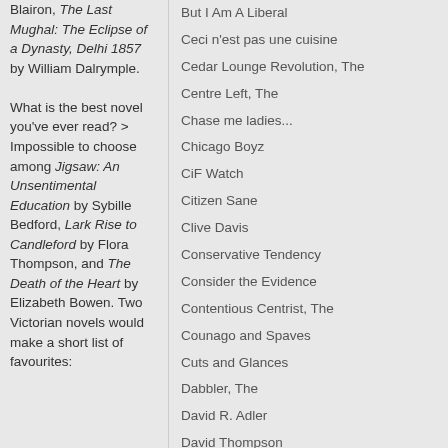Blairon, The Last Mughal: The Eclipse of a Dynasty, Delhi 1857 by William Dalrymple. What is the best novel you've ever read? > Impossible to choose among Jigsaw: An Unsentimental Education by Sybille Bedford, Lark Rise to Candleford by Flora Thompson, and The Death of the Heart by Elizabeth Bowen. Two Victorian novels would make a short list of favourites:
But I Am A Liberal
Ceci n'est pas une cuisine
Cedar Lounge Revolution, The
Centre Left, The
Chase me ladies...
Chicago Boyz
CiF Watch
Citizen Sane
Clive Davis
Conservative Tendency
Consider the Evidence
Contentious Centrist, The
Counago and Spaves
Cuts and Glances
Dabbler, The
David R. Adler
David Thompson
Debi Alper